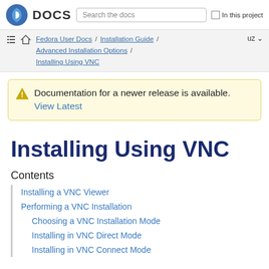Fedora DOCS | Search the docs | In this project
Fedora User Docs / Installation Guide / Advanced Installation Options / Installing Using VNC | uz
Documentation for a newer release is available. View Latest
Installing Using VNC
Contents
Installing a VNC Viewer
Performing a VNC Installation
Choosing a VNC Installation Mode
Installing in VNC Direct Mode
Installing in VNC Connect Mode